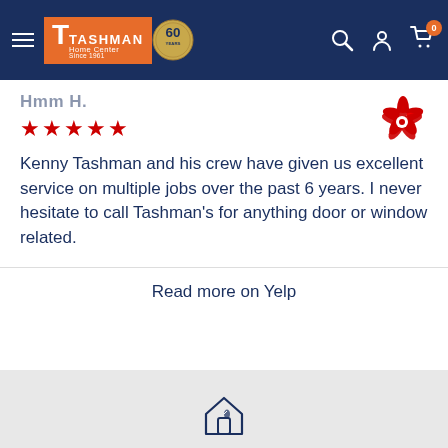[Figure (logo): Tashman Home Center logo with 60 years anniversary badge on dark blue navigation bar]
★★★★★
[Figure (logo): Yelp logo (red and white pinwheel icon)]
Kenny Tashman and his crew have given us excellent service on multiple jobs over the past 6 years. I never hesitate to call Tashman's for anything door or window related.
Read more on Yelp
[Figure (illustration): House/home icon outline with a leaf inside, in dark blue color]
GET A QUOTE